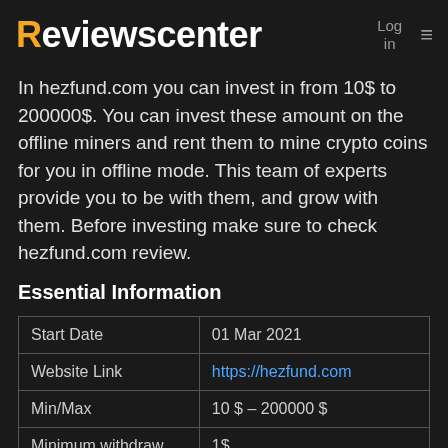Reviewscenter  Log in  ≡
In hezfund.com you can invest in from 10$ to 200000$. You can invest these amount on the offline miners and rent them to mine crypto coins for you in offline mode. This team of experts provide you to be with them, and grow with them. Before investing make sure to check hezfund.com review.
Essential Information
| Start Date | 01 Mar 2021 |
| Website Link | https://hezfund.com |
| Min/Max | 10 $ – 200000 $ |
| Minimum withdraw | 1$ |